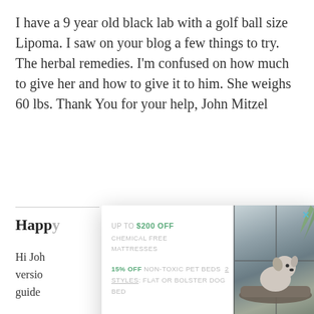I have a 9 year old black lab with a golf ball size Lipoma. I saw on your blog a few things to try. The herbal remedies. I'm confused on how much to give her and how to give it to him. She weighs 60 lbs. Thank You for your help, John Mitzel
Happy
Hi John... version... guide...
[Figure (screenshot): Popup advertisement overlay showing: 'UP TO $200 OFF CHEMICAL FREE MATTRESSES' and '15% off NON-TOXIC PET BEDS 2 STYLES: FLAT OR BOLSTER DOG BED' with a 'Yes please!' button in teal, a photo of a dog sitting on a bolster dog bed, and a close button (x) in the top right corner.]
Kath
Please... have been giving her Salmon and pumpkin abound...